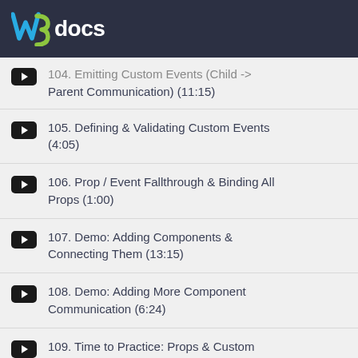W3docs
104. Emitting Custom Events (Child -> Parent Communication) (11:15)
105. Defining & Validating Custom Events (4:05)
106. Prop / Event Fallthrough & Binding All Props (1:00)
107. Demo: Adding Components & Connecting Them (13:15)
108. Demo: Adding More Component Communication (6:24)
109. Time to Practice: Props & Custom